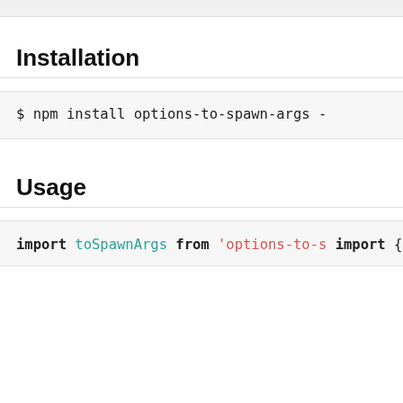Installation
$ npm install options-to-spawn-args -
Usage
import toSpawnArgs from 'options-to-s
import { spawn } from 'child_process'

const options = {
    l: true,
    a: true
}